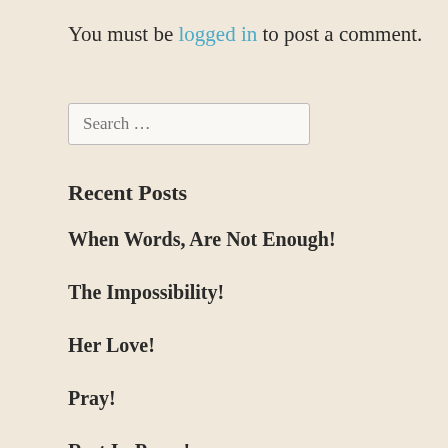You must be logged in to post a comment.
Search …
Recent Posts
When Words, Are Not Enough!
The Impossibility!
Her Love!
Pray!
Rest In Peace!